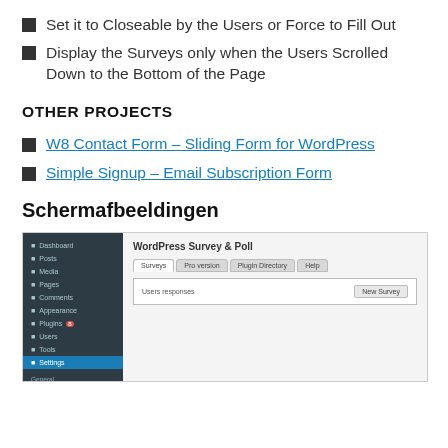Set it to Closeable by the Users or Force to Fill Out
Display the Surveys only when the Users Scrolled Down to the Bottom of the Page
OTHER PROJECTS
W8 Contact Form – Sliding Form for WordPress
Simple Signup – Email Subscription Form
Schermafbeeldingen
[Figure (screenshot): WordPress admin dashboard screenshot showing WordPress Survey & Poll plugin interface with Survey, Pro version, Plugin Directory, and Help tabs, and a New Survey button.]